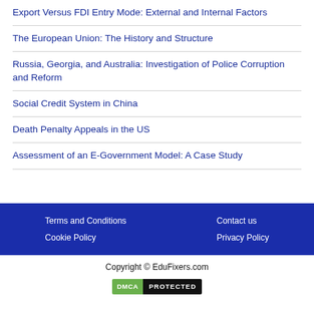Export Versus FDI Entry Mode: External and Internal Factors
The European Union: The History and Structure
Russia, Georgia, and Australia: Investigation of Police Corruption and Reform
Social Credit System in China
Death Penalty Appeals in the US
Assessment of an E-Government Model: A Case Study
Terms and Conditions  Contact us  Cookie Policy  Privacy Policy  Copyright © EduFixers.com  DMCA PROTECTED